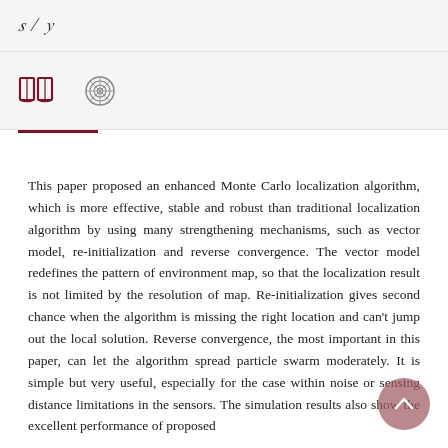[Figure (logo): Open book icon and spiral/rosette icon in a grey navigation bar]
This paper proposed an enhanced Monte Carlo localization algorithm, which is more effective, stable and robust than traditional localization algorithm by using many strengthening mechanisms, such as vector model, re-initialization and reverse convergence. The vector model redefines the pattern of environment map, so that the localization result is not limited by the resolution of map. Re-initialization gives second chance when the algorithm is missing the right location and can't jump out the local solution. Reverse convergence, the most important in this paper, can let the algorithm spread particle swarm moderately. It is simple but very useful, especially for the case within noise or sensing distance limitations in the sensors. The simulation results also show the excellent performance of proposed